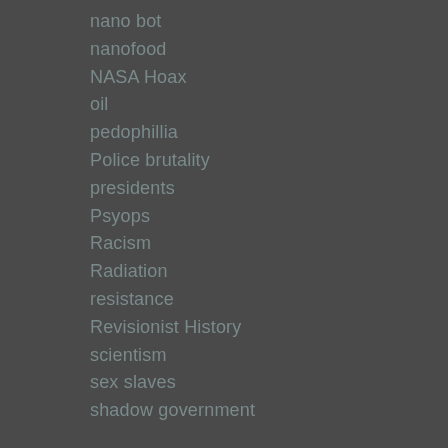nano bot
nanofood
NASA Hoax
oil
pedophillia
Police brutality
presidents
Psyops
Racism
Radiation
resistance
Revisionist History
scientism
sex slaves
shadow government